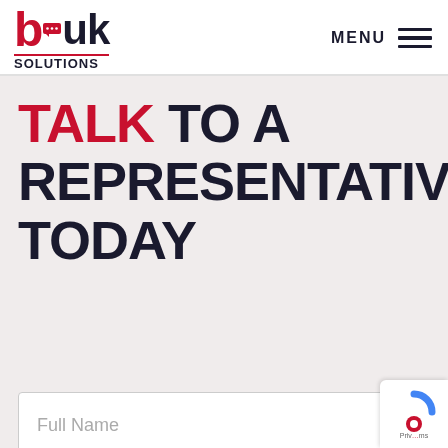[Figure (logo): BUK Solutions logo: stylized 'buk' in red/dark blue with 'SOLUTIONS' subtitle and red underline]
MENU
TALK TO A REPRESENTATIVE TODAY
Full Name